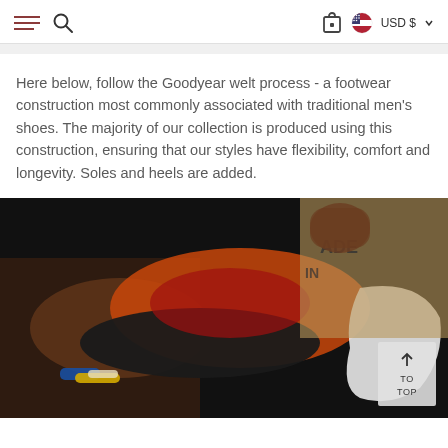Navigation header with hamburger menu, search icon, cart icon, USD currency selector
Here below, follow the Goodyear welt process - a footwear construction most commonly associated with traditional men's shoes. The majority of our collection is produced using this construction, ensuring that our styles have flexibility, comfort and longevity. Soles and heels are added.
[Figure (photo): Hands holding a shoe being constructed showing orange lining and sole layers, with a 'MADE IN' label visible in the background. A white shoe last or heel piece is visible on the right. A 'TO TOP' button overlay is in the bottom right corner.]